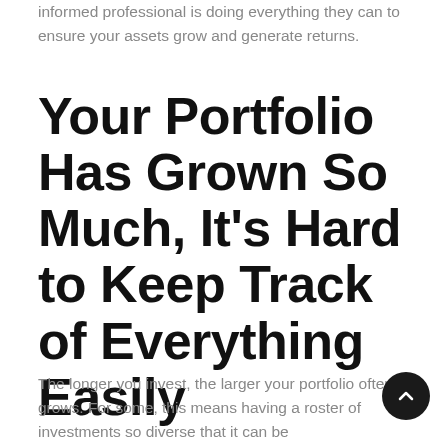informed professional is doing everything they can to ensure your assets grow and generate returns.
Your Portfolio Has Grown So Much, It's Hard to Keep Track of Everything Easily
The longer you invest, the larger your portfolio often grows. For some, this means having a roster of investments so diverse that it can be